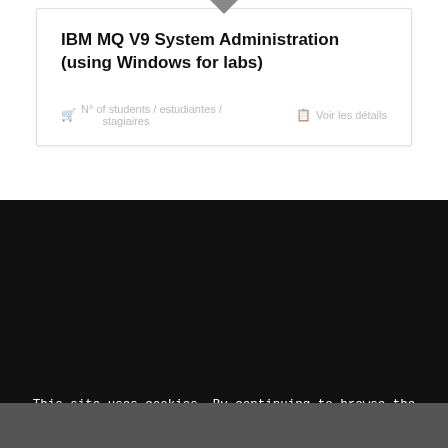IBM MQ V9 System Administration (using Windows for labs)
N° of students / estudiantes / stagiaires
Voir les détails
[Figure (screenshot): Dark IBM website background with IBM logo stripe pattern visible]
This site uses cookies. By continuing to browse the site, you are agreeing to our use of cookies.
OK
Learn more